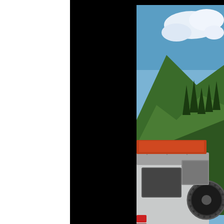[Figure (photo): Partial view of a white off-road vehicle (Jeep/4x4) with roof rack, spare tire mount, and equipment, parked on rocky terrain with green mountain slopes, evergreen trees, and blue sky with clouds in the background. Most of the page is black/dark except for a white strip on the far left and the photo visible on the right side.]